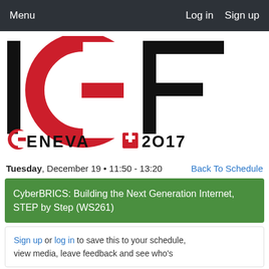Menu    Log in  Sign up
[Figure (logo): IGF Geneva 2017 logo — large black letters I, G, F with red arc for G, and text GENEVA with Swiss cross and 2017 below]
Tuesday, December 19 • 11:50 - 13:20    Back To Schedule
CyberBRICS: Building the Next Generation Internet, STEP by Step (WS261)
Sign up or log in to save this to your schedule, view media, leave feedback and see who's